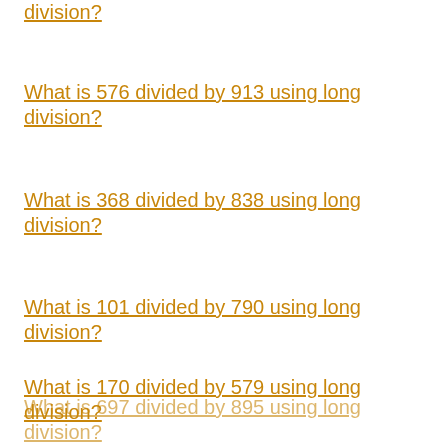division?
What is 576 divided by 913 using long division?
What is 368 divided by 838 using long division?
What is 101 divided by 790 using long division?
What is 170 divided by 579 using long division?
What is 697 divided by 895 using long division?